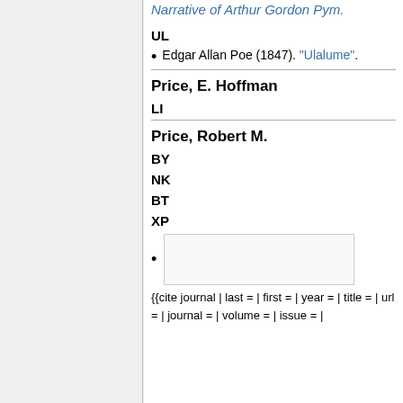Narrative of Arthur Gordon Pym.
UL
Edgar Allan Poe (1847). "Ulalume".
Price, E. Hoffman
LI
Price, Robert M.
BY
NK
BT
XP
{{cite journal | last = | first = | year = | title = | url = | journal = | volume = | issue = |